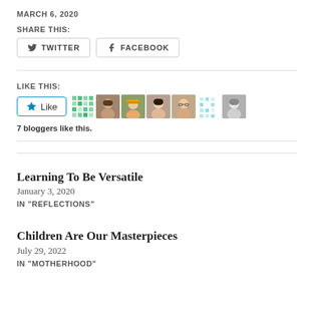MARCH 6, 2020
SHARE THIS:
TWITTER   FACEBOOK
LIKE THIS:
[Figure (other): Like button with star icon and 7 blogger avatars]
7 bloggers like this.
Learning To Be Versatile
January 3, 2020
IN "REFLECTIONS"
Children Are Our Masterpieces
July 29, 2022
IN "MOTHERHOOD"